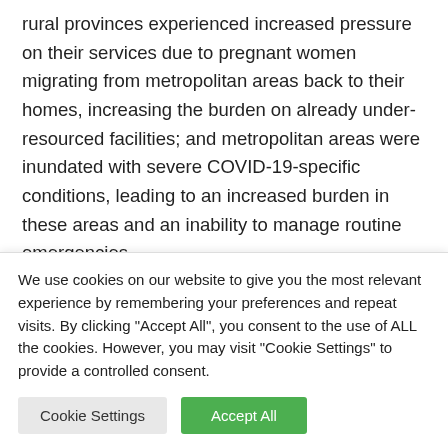rural provinces experienced increased pressure on their services due to pregnant women migrating from metropolitan areas back to their homes, increasing the burden on already under-resourced facilities; and metropolitan areas were inundated with severe COVID-19-specific conditions, leading to an increased burden in these areas and an inability to manage routine emergencies
The deaths statistics undo the hard-won gains in South African maternal health in the decade years before COVID-
We use cookies on our website to give you the most relevant experience by remembering your preferences and repeat visits. By clicking "Accept All", you consent to the use of ALL the cookies. However, you may visit "Cookie Settings" to provide a controlled consent.